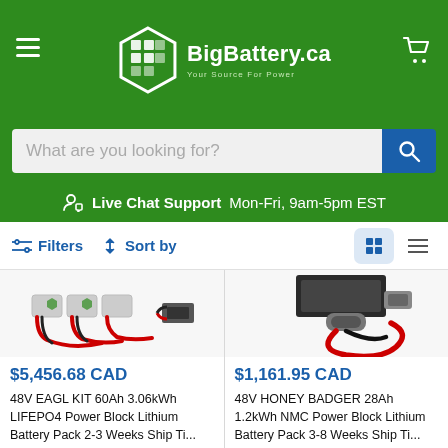[Figure (logo): BigBattery.ca logo with green hexagon battery icon and tagline 'Your Source For Power' on green header background]
What are you looking for?
Live Chat Support Mon-Fri, 9am-5pm EST
Filters  Sort by
[Figure (photo): 48V EAGL KIT battery pack product image showing multiple small battery units with red and black cables]
$5,456.68 CAD
48V EAGL KIT 60Ah 3.06kWh LIFEPO4 Power Block Lithium Battery Pack 2-3 Weeks Ship Ti...
[Figure (photo): 48V HONEY BADGER battery product image showing black rectangular unit with red and black connector cables]
$1,161.95 CAD
48V HONEY BADGER 28Ah 1.2kWh NMC Power Block Lithium Battery Pack 3-8 Weeks Ship Ti...